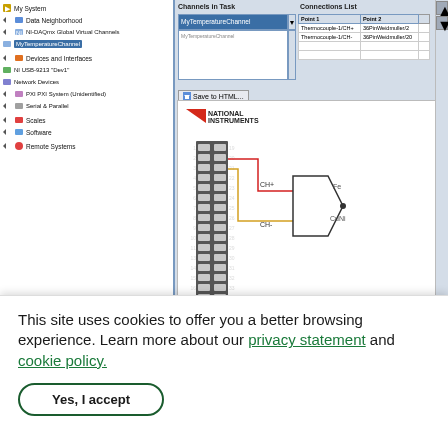[Figure (screenshot): NI-DAQmx software screenshot showing left tree panel with MyTemperatureChannel selected, Channels in Task panel, Connections List table with Thermocouple-1/CH+ mapped to 36PinWeidmuller/2 and Thermocouple-1/CH- mapped to 36PinWeidmuller/20, Save to HTML button, and National Instruments wiring diagram showing a 36-pin connector wired to a thermocouple symbol with CH+ and CH- connections labeled Fe and CuNi]
This site uses cookies to offer you a better browsing experience. Learn more about our privacy statement and cookie policy.
Yes, I accept